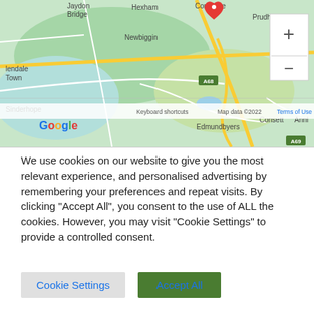[Figure (map): Google Maps screenshot showing area around Corbridge, Hexham, Prudhoe, Newbiggin, Consett, Edmundbyers, Sinderhope in northern England. Shows road network including A68 and A69 routes. Red map pin marker visible at Corbridge. Zoom in/out controls visible top right. Map data ©2022, Terms of Use shown at bottom.]
We use cookies on our website to give you the most relevant experience, and personalised advertising by remembering your preferences and repeat visits. By clicking "Accept All", you consent to the use of ALL the cookies. However, you may visit "Cookie Settings" to provide a controlled consent.
Cookie Settings
Accept All